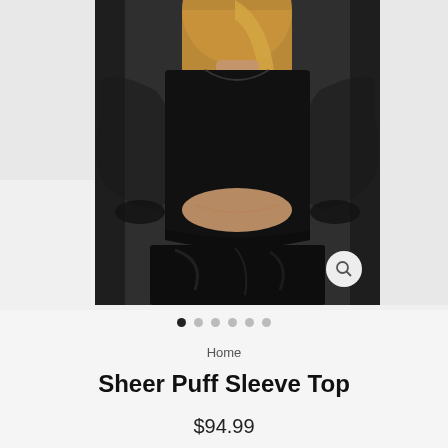[Figure (photo): Model wearing a black sheer puff sleeve top paired with a black faux leather skirt. The model has blonde hair and is shown from shoulders to waist. Sheer long sleeves with gathered cuffs are visible. A magnifying glass zoom icon appears in the bottom right of the image. Image carousel navigation dots appear below the photo.]
Home
Sheer Puff Sleeve Top
$94.99